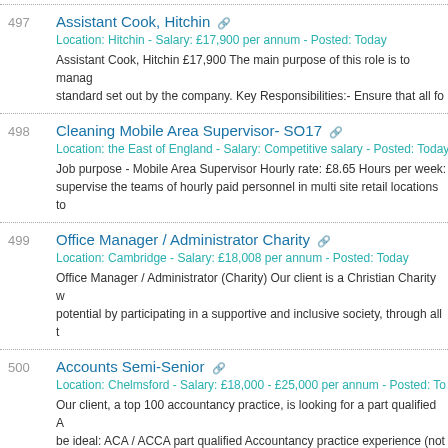497 Assistant Cook, Hitchin
Location: Hitchin - Salary: £17,900 per annum - Posted: Today
Assistant Cook, Hitchin £17,900 The main purpose of this role is to manage standard set out by the company. Key Responsibilities:- Ensure that all fo
498 Cleaning Mobile Area Supervisor- SO17
Location: the East of England - Salary: Competitive salary - Posted: Today
Job purpose - Mobile Area Supervisor Hourly rate: £8.65 Hours per week: supervise the teams of hourly paid personnel in multi site retail locations to
499 Office Manager / Administrator Charity
Location: Cambridge - Salary: £18,008 per annum - Posted: Today
Office Manager / Administrator (Charity) Our client is a Christian Charity we potential by participating in a supportive and inclusive society, through all t
500 Accounts Semi-Senior
Location: Chelmsford - Salary: £18,000 - £25,000 per annum - Posted: To
Our client, a top 100 accountancy practice, is looking for a part qualified Ac be ideal: ACA / ACCA part qualified Accountancy practice experience (not